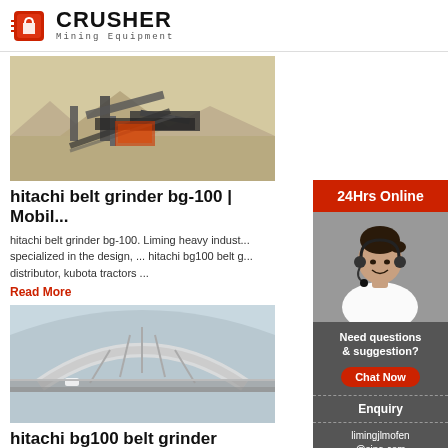CRUSHER Mining Equipment
[Figure (photo): Mining crusher machinery in an open field/desert environment]
hitachi belt grinder bg-100 | Mobil...
hitachi belt grinder bg-100. Liming heavy indust... specialized in the design, ... hitachi bg100 belt g... distributor, kubota tractors ...
Read More
[Figure (photo): Aerial view of large industrial structure/bridge, curved architecture]
hitachi bg100 belt grinder distribu...
[Figure (infographic): 24Hrs Online sidebar with customer service representative wearing headset, Need questions & suggestion? Chat Now button, Enquiry link, limingjlmofen@sina.com email]